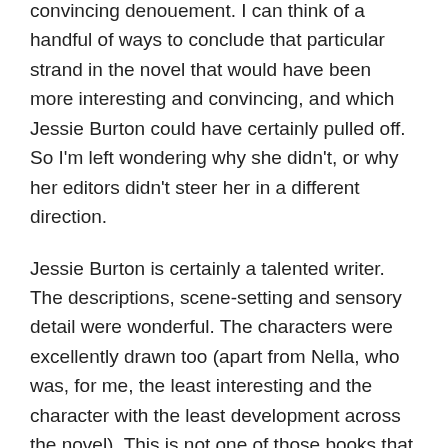convincing denouement. I can think of a handful of ways to conclude that particular strand in the novel that would have been more interesting and convincing, and which Jessie Burton could have certainly pulled off. So I'm left wondering why she didn't, or why her editors didn't steer her in a different direction.
Jessie Burton is certainly a talented writer. The descriptions, scene-setting and sensory detail were wonderful. The characters were excellently drawn too (apart from Nella, who was, for me, the least interesting and the character with the least development across the novel). This is not one of those books that is cynically bad (The Kite Runner) or workman-like commercial (One Day). It's a book that's frustrating because I think